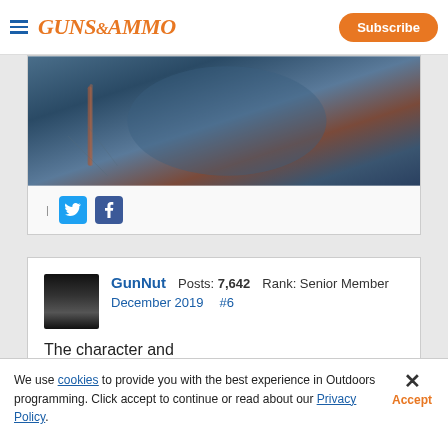GUNS&AMMO | Subscribe
[Figure (photo): Close-up photo of a gun barrel or rifle stock with bluish-grey and reddish-brown tones]
Twitter and Facebook social sharing icons
GunNut  Posts: 7,642  Rank: Senior Member
December 2019  #6
Th[e character and] [ma...]
[Figure (screenshot): Advertisement overlay showing '$100 CREDIT' and 'MAKO' brand text]
We use cookies to provide you with the best experience in Outdoors programming. Click accept to continue or read about our Privacy Policy.